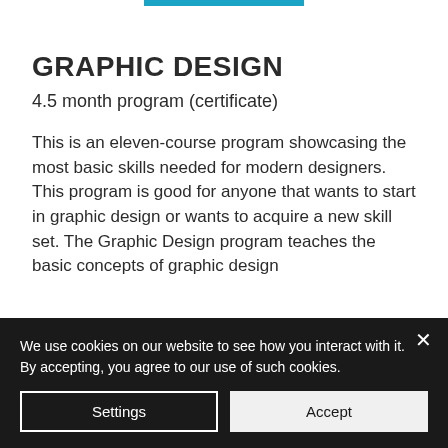GRAPHIC DESIGN
4.5 month program (certificate)
This is an eleven-course program showcasing the most basic skills needed for modern designers. This program is good for anyone that wants to start in graphic design or wants to acquire a new skill set. The Graphic Design program teaches the basic concepts of graphic design
We use cookies on our website to see how you interact with it. By accepting, you agree to our use of such cookies.